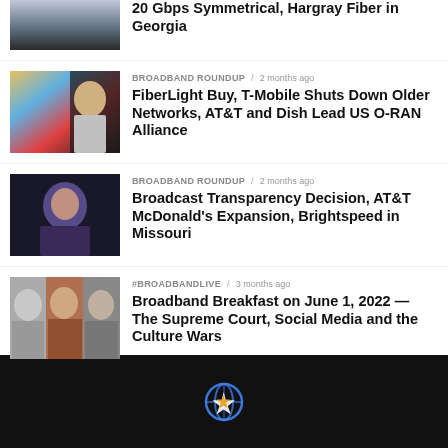[Figure (photo): Partial news thumbnail of a man in suit]
20 Gbps Symmetrical, Hargray Fiber in Georgia
[Figure (photo): News thumbnail with colorful background and man smiling]
BROADBAND ROUNDUP / 2 months ago
FiberLight Buy, T-Mobile Shuts Down Older Networks, AT&T and Dish Lead US O-RAN Alliance
[Figure (photo): News thumbnail of a woman speaking at event]
BROADBAND ROUNDUP / 2 months ago
Broadcast Transparency Decision, AT&T McDonald's Expansion, Brightspeed in Missouri
[Figure (photo): News thumbnail with three faces]
#BROADBANDLIVE / 3 months ago
Broadband Breakfast on June 1, 2022 — The Supreme Court, Social Media and the Culture Wars
[Figure (logo): Broadband Breakfast globe/star logo icon on dark footer]